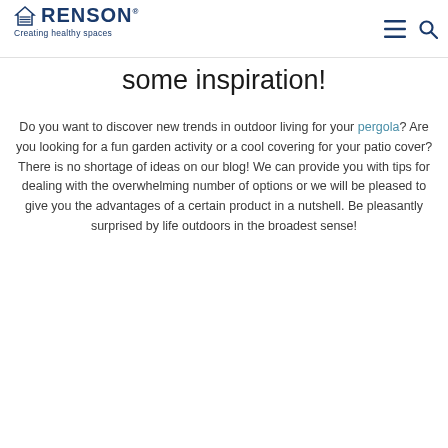RENSON® Creating healthy spaces
some inspiration!
Do you want to discover new trends in outdoor living for your pergola? Are you looking for a fun garden activity or a cool covering for your patio cover? There is no shortage of ideas on our blog! We can provide you with tips for dealing with the overwhelming number of options or we will be pleased to give you the advantages of a certain product in a nutshell. Be pleasantly surprised by life outdoors in the broadest sense!